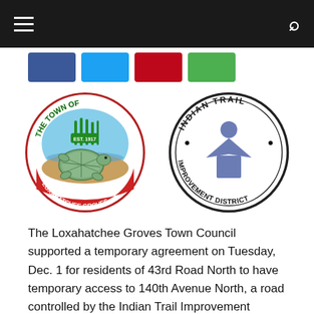[Figure (logo): The Town of Loxahatchee Groves circular seal featuring a turtle on a red banner, est. 1917, with grass and water imagery]
[Figure (logo): Indian Trail Improvement District circular seal with a blue figure/person icon in the center]
The Loxahatchee Groves Town Council supported a temporary agreement on Tuesday, Dec. 1 for residents of 43rd Road North to have temporary access to 140th Avenue North, a road controlled by the Indian Trail Improvement District, allowing them to access